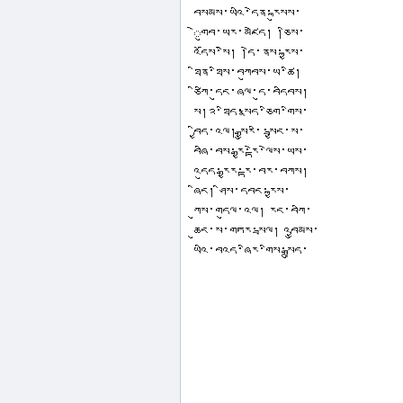བསམས་ཡའི་དེན་རྐུསས་
ེགུབ་ཡར་མཛེད། །ཅིས་
འདོས་སེི། །དེ་ནས་རྐྱས་
ཐིན་ཐིས་བཀུབས་ཡ་ཚི།
ཙིཀི་དུང་ཞལ་དུ་བདིབས།
ས།༢་ཐིད་སྣད་ཅིག་གིས་
བྱིད་འལ། སྒྱུར་ི་སྦྱང་ས་
བཞི་བས་རྒྱ་རྟེ་ལེས་ཡས་
འདུད་རྒྱར་རྟ་བར་བཀས།
ཞིང། ཤིས་དབང་རྐྱས་
ཀུས་གདུལ་འལ། རང་བཀི་
ཆུང་ས་གཏར་སྦལ། འབྱུམས་
ཡའི་བའད་ཞིར་གིས་སྒྲུད་